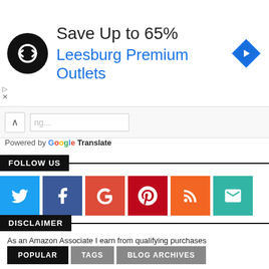[Figure (screenshot): Advertisement banner: black circle logo with infinity-like arrow symbol, text 'Save Up to 65%' and 'Leesburg Premium Outlets' in blue, blue diamond navigation badge on right. Close/skip controls on left edge.]
[Figure (screenshot): Google Translate widget bar with chevron up icon and text input, 'Powered by Google Translate' below.]
FOLLOW US
[Figure (infographic): Row of 6 social media icon buttons: Twitter (blue), Facebook (dark blue), Google+ (red-orange), Pinterest (dark red), RSS (orange), Email (teal).]
DISCLAIMER
As an Amazon Associate I earn from qualifying purchases
POPULAR   TAGS   BLOG ARCHIVES